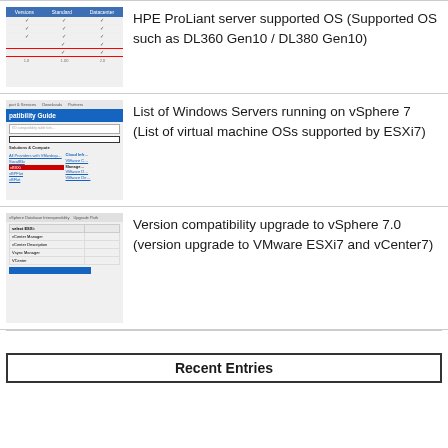[Figure (screenshot): Screenshot of HPE ProLiant server supported OS table with checkmarks and red-bordered rows]
HPE ProLiant server supported OS (Supported OS such as DL360 Gen10 / DL380 Gen10)
[Figure (screenshot): Screenshot of VMware Compatibility Guide website showing patibility Guide page with navigation and links]
List of Windows Servers running on vSphere 7 (List of virtual machine OSs supported by ESXi7)
[Figure (screenshot): Screenshot of vSphere Database Interoperability and Upgrade Path page showing a table and highlighted blue row]
Version compatibility upgrade to vSphere 7.0 (version upgrade to VMware ESXi7 and vCenter7)
Recent Entries